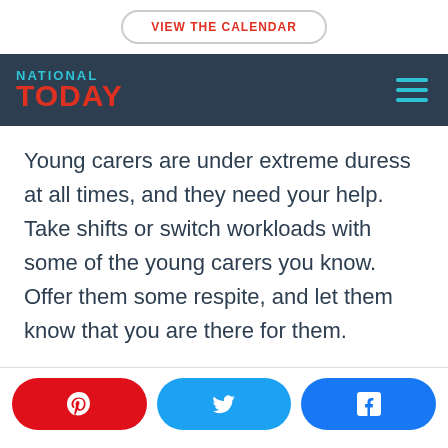VIEW THE CALENDAR
[Figure (logo): National Today logo with navigation bar on dark background]
Young carers are under extreme duress at all times, and they need your help. Take shifts or switch workloads with some of the young carers you know. Offer them some respite, and let them know that you are there for them.
[Figure (infographic): Social share buttons for Pinterest, Twitter, and Facebook]